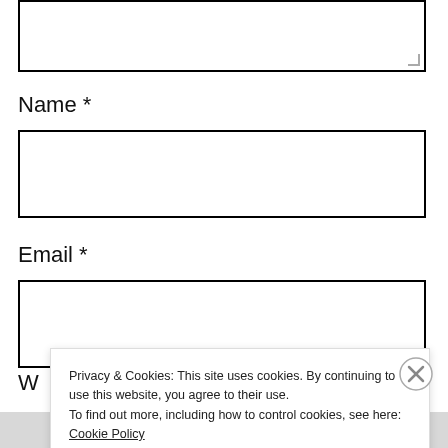[Figure (screenshot): Textarea input box (top of page, partially visible), showing a white text area with black border and resize handle in bottom-right corner.]
Name *
[Figure (screenshot): Name input field: a white rectangle with thick black border.]
Email *
[Figure (screenshot): Email input field: a white rectangle with thick black border.]
Privacy & Cookies: This site uses cookies. By continuing to use this website, you agree to their use.
To find out more, including how to control cookies, see here: Cookie Policy
Close and accept